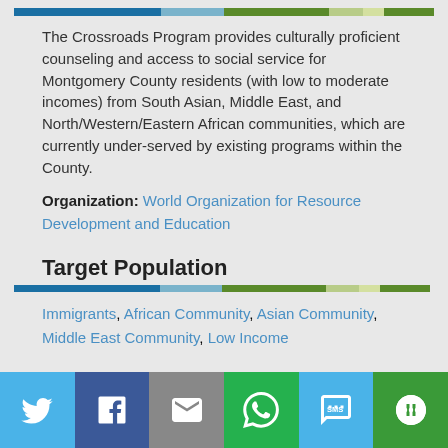The Crossroads Program provides culturally proficient counseling and access to social service for Montgomery County residents (with low to moderate incomes) from South Asian, Middle East, and North/Western/Eastern African communities, which are currently under-served by existing programs within the County.
Organization: World Organization for Resource Development and Education
Target Population
Immigrants, African Community, Asian Community, Middle East Community, Low Income
Services